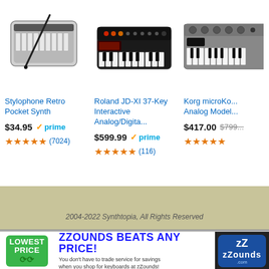[Figure (photo): Stylophone Retro Pocket Synth product image - small rectangular keyboard instrument with stylus]
Stylophone Retro Pocket Synth
$34.95 prime
★★★★★ (7024)
[Figure (photo): Roland JD-XI 37-Key Interactive Analog/Digital synthesizer product image]
Roland JD-XI 37-Key Interactive Analog/Digita...
$599.99 prime
★★★★½ (116)
[Figure (photo): Korg microKorg Analog Modeling synthesizer product image - partially cropped]
Korg microKo... Analog Model...
$417.00 $799...
★★★★★
2004-2022 Synthtopia, All Rights Reserved
[Figure (infographic): zZounds advertisement banner: LOWEST PRICE badge, ZZOUNDS BEATS ANY PRICE!, keyboard image, zZounds logo]